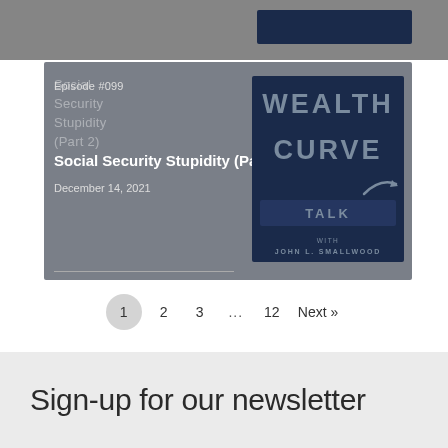[Figure (screenshot): Podcast episode card for Wealth Curve Talk with John L. Smallwood. Shows Episode #099, Social Security Stupidity (Part 2), dated December 14, 2021, with the podcast logo on the right.]
1  2  3  ...  12  Next »
Sign-up for our newsletter